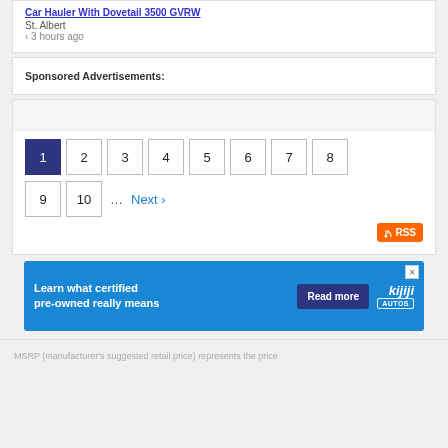Car Hauler With Dovetail 3500 GVRW
St. Albert
‹ 3 hours ago
Sponsored Advertisements:
1 2 3 4 5 6 7 8 9 10 ... Next ›
[Figure (other): RSS button icon]
[Figure (other): Kijiji Autos ad banner: Learn what certified pre-owned really means. Read more.]
MSRP (manufacturer's suggested retail price) represents the price